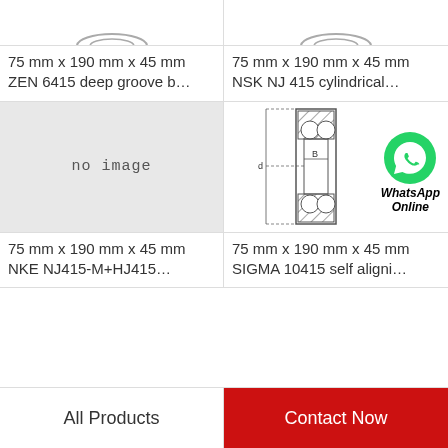[Figure (engineering-diagram): Top partial view of a bearing (cropped at top of page, left column)]
[Figure (engineering-diagram): Top partial view of a bearing (cropped at top of page, right column)]
75 mm x 190 mm x 45 mm ZEN 6415 deep groove b…
75 mm x 190 mm x 45 mm NSK NJ 415 cylindrical…
[Figure (illustration): No image placeholder with grey background]
[Figure (engineering-diagram): Technical cross-section diagram of a self-aligning ball bearing with dimension lines and a WhatsApp Online overlay logo]
75 mm x 190 mm x 45 mm NKE NJ415-M+HJ415…
75 mm x 190 mm x 45 mm SIGMA 10415 self aligni…
All Products
Contact Now